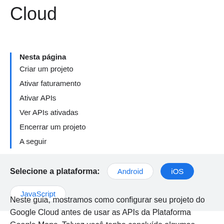Cloud
Nesta página
Criar um projeto
Ativar faturamento
Ativar APIs
Ver APIs ativadas
Encerrar um projeto
A seguir
Selecione a plataforma: Android iOS JavaScript
Neste guia, mostramos como configurar seu projeto do Google Cloud antes de usar as APIs da Plataforma Google Maps. Talvez você tenha concluído algumas dessas